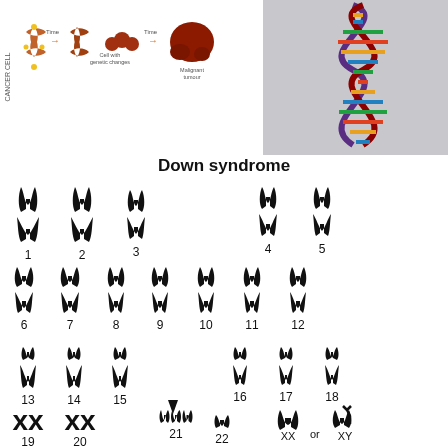[Figure (illustration): Top-left: cancer cell chromosome diagram showing chromosomes with telomeres and cell with genetic changes leading to malignant tumor. Top-right: colorful DNA double helix illustration.]
Down syndrome
[Figure (illustration): Karyotype diagram of Down syndrome showing all 23 pairs of chromosomes. Chromosome 21 has 3 copies (trisomy 21) indicated by an arrow. Sex chromosomes shown as XX or XY. Chromosomes 1-22 plus sex chromosomes displayed as stylized black silhouettes with numbered labels.]